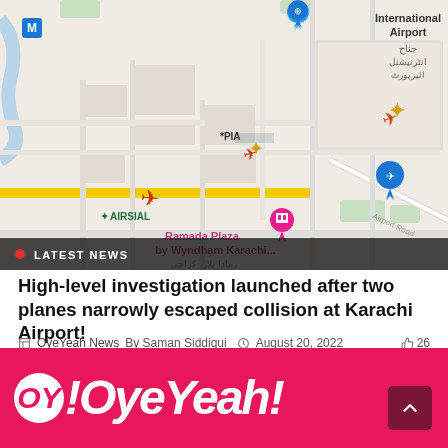[Figure (map): Map showing Karachi International Airport area with airplane icons for AirSial and PIA airlines, location pins, road network including Airport Road, and labels including Ramada Plaza by Wyndham Karachi]
LATEST NEWS
High-level investigation launched after two planes narrowly escaped collision at Karachi Airport!
OyeYeah News By Saman Siddiqui August 20, 2022 26
[Figure (logo): OyeYeah logo on pink/magenta background with scroll-to-top button]